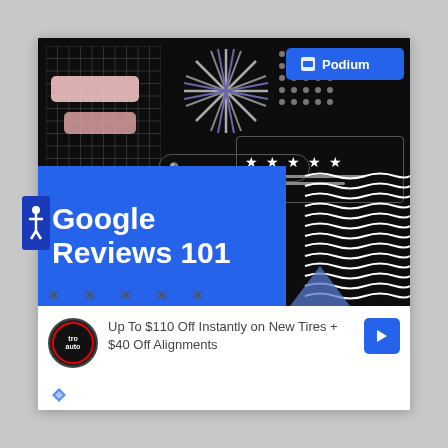[Figure (illustration): Podium Google Reviews 101 promotional image on dark background with decorative elements: grid pattern, speech bubbles, starburst, dot grid, Podium logo button, star rating box, search bar, wavy lines pattern, and X marks. Large blue rectangle with 'Google Reviews 101' text in white bold font.]
Up To $110 Off Instantly on New Tires + $40 Off Alignments